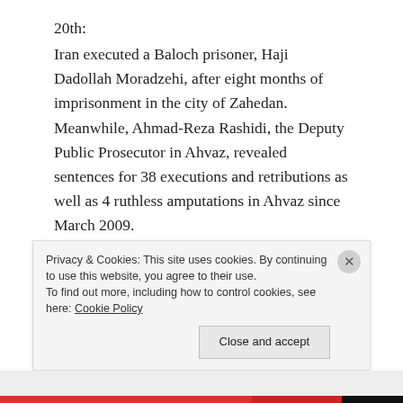20th:
Iran executed a Baloch prisoner, Haji Dadollah Moradzehi, after eight months of imprisonment in the city of Zahedan. Meanwhile, Ahmad-Reza Rashidi, the Deputy Public Prosecutor in Ahvaz, revealed sentences for 38 executions and retributions as well as 4 ruthless amputations in Ahvaz since March 2009.
21st:
Family members and hundreds of other Baloch women and children took to streets against the abduction of thousands of Baloch political activists. They protested forcefully against Ahktari and Settari, administrate to...
Privacy & Cookies: This site uses cookies. By continuing to use this website, you agree to their use. To find out more, including how to control cookies, see here: Cookie Policy
Close and accept